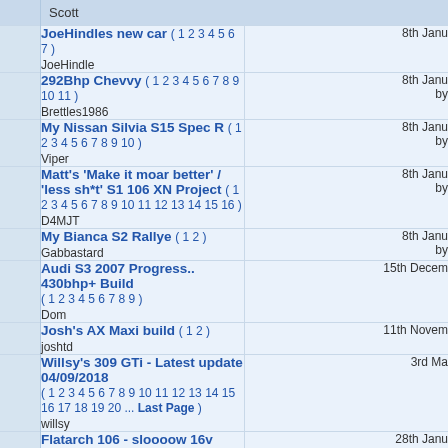Scott
JoeHindles new car ( 1 2 3 4 5 6 7 ) JoeHindle — 8th Janu
292Bhp Chevvy ( 1 2 3 4 5 6 7 8 9 10 11 ) Brettles1986 — 8th Janu by
My Nissan Silvia S15 Spec R ( 1 2 3 4 5 6 7 8 9 10 ) Viper — 8th Janu by
Matt's 'Make it moar better' / 'less sh*t' S1 106 XN Project ( 1 2 3 4 5 6 7 8 9 10 11 12 13 14 15 16 ) D4MJT — 8th Janu by
My Bianca S2 Rallye ( 1 2 ) Gabbastard — 8th Janu by
Audi S3 2007 Progress.. 430bhp+ Build ( 1 2 3 4 5 6 7 8 9 ) Dom — 15th Decem
Josh's AX Maxi build ( 1 2 ) joshtd — 11th Novem
Willsy's 309 GTi - Latest update 04/09/2018 ( 1 2 3 4 5 6 7 8 9 10 11 12 13 14 15 16 17 18 19 20 ... Last Page ) willsy — 3rd Ma
Flatarch 106 - sloooow 16v conversion westwell_22 — 28th Janu b
Peugeot 106 1.6 Turbo peugeotricardo — 5th Novem by